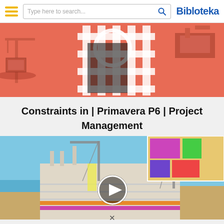Bibloteka — search bar header
[Figure (illustration): Construction site 3D illustration with crane and building scaffolding on coral/salmon background]
Constraints in | Primavera P6 | Project Management
[Figure (screenshot): Video thumbnail showing 3D construction simulation with building under construction, cranes, colorful floor plan inset, and a play button overlay]